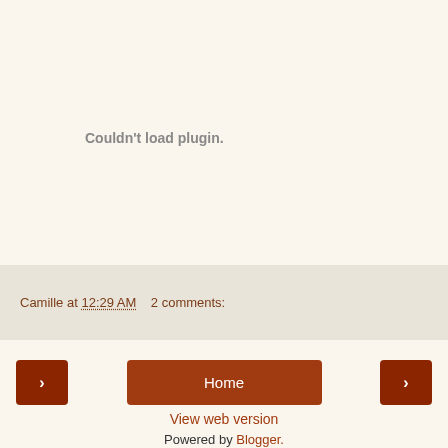Couldn't load plugin.
Camille at 12:29 AM    2 comments:
< Home > View web version Powered by Blogger.